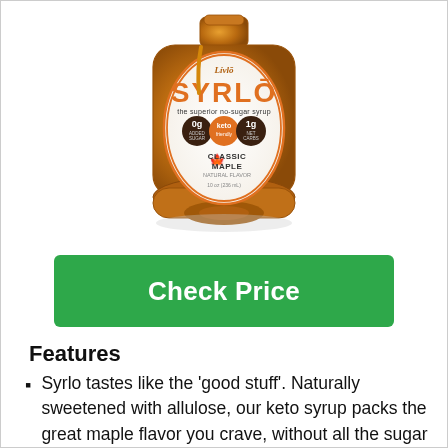[Figure (photo): A bottle of Lívlō SYRLŌ Classic Maple no-sugar syrup. The label reads 'the superior no-sugar syrup', '0g added sugar', 'keto friendly', '1g net carbs', 'CLASSIC MAPLE NATURAL FLAVOR'. The bottle is amber/glass colored.]
Check Price
Features
Syrlo tastes like the 'good stuff'. Naturally sweetened with allulose, our keto syrup packs the great maple flavor you crave, without all the sugar and calories. So I guess